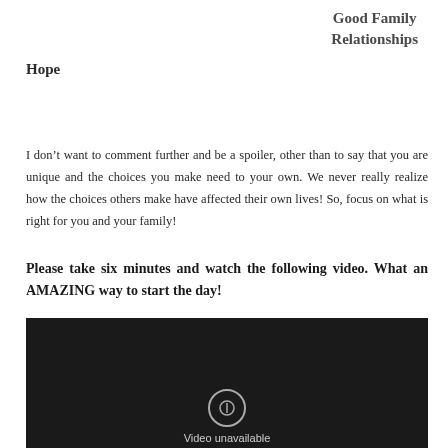Good Family Relationships
Hope
I don’t want to comment further and be a spoiler, other than to say that you are unique and the choices you make need to your own. We never really realize how the choices others make have affected their own lives! So, focus on what is right for you and your family!
Please take six minutes and watch the following video. What an AMAZING way to start the day!
[Figure (screenshot): Embedded video player showing 'Video unavailable' message on a dark background]